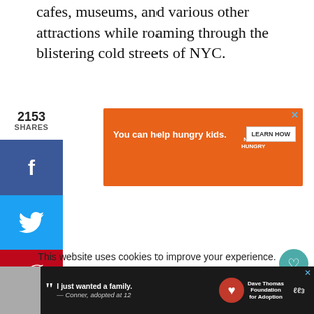cafes, museums, and various other attractions while roaming through the blistering cold streets of NYC.
2153 SHARES
[Figure (infographic): Social sharing buttons: Facebook (f), Twitter (bird), Pinterest (P) with 2153 count, LinkedIn (in)]
[Figure (infographic): Advertisement banner: orange background. 'You can help hungry kids.' No Kid Hungry logo. LEARN HOW button.]
This website uses cookies to improve your experience. We assume you're ok with this, but you can opt-out if you wish.
[Figure (infographic): Heart/like button (teal circle) with count 2.2K and share icon]
[Figure (infographic): Bottom advertisement: Dave Thomas Foundation for Adoption. Quote: I just wanted a family. — Conner, adopted at 12]